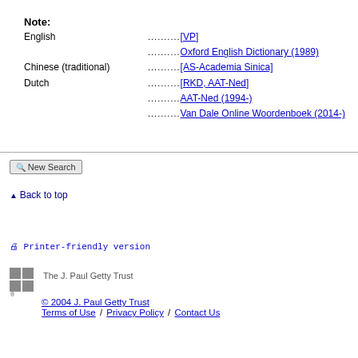Note:
English .......... [VP]
.......... Oxford English Dictionary (1989)
Chinese (traditional) .......... [AS-Academia Sinica]
Dutch .......... [RKD, AAT-Ned]
.......... AAT-Ned (1994-)
.......... Van Dale Online Woordenboek (2014-)
New Search
Back to top
Printer-friendly version
[Figure (logo): The J. Paul Getty Trust logo - grey square grid logo]
The J. Paul Getty Trust
© 2004 J. Paul Getty Trust
Terms of Use / Privacy Policy / Contact Us